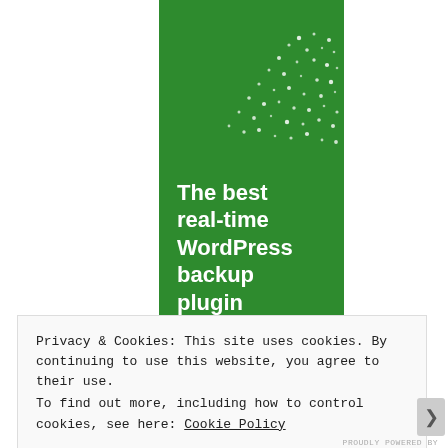[Figure (illustration): Green banner/advertisement panel with white dot pattern scatter and bold white text reading 'The best real-time WordPress backup plugin']
Privacy & Cookies: This site uses cookies. By continuing to use this website, you agree to their use.
To find out more, including how to control cookies, see here: Cookie Policy
Close and accept